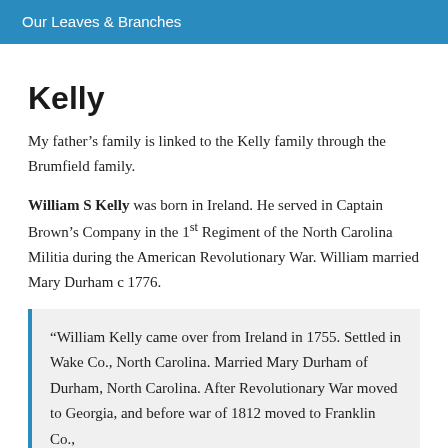Our Leaves & Branches
Kelly
My father’s family is linked to the Kelly family through the Brumfield family.
William S Kelly was born in Ireland. He served in Captain Brown’s Company in the 1st Regiment of the North Carolina Militia during the American Revolutionary War. William married Mary Durham c 1776.
“William Kelly came over from Ireland in 1755. Settled in Wake Co., North Carolina. Married Mary Durham of Durham, North Carolina. After Revolutionary War moved to Georgia, and before war of 1812 moved to Franklin Co.,